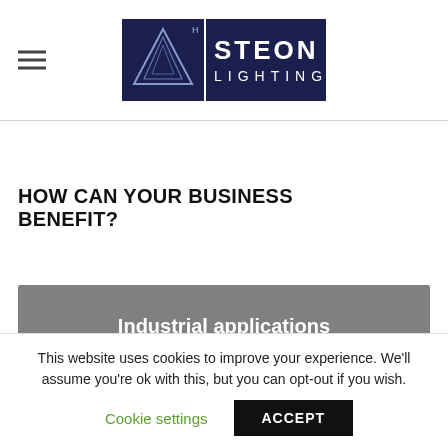Steon Lighting logo and navigation menu
HOW CAN YOUR BUSINESS BENEFIT?
[Figure (infographic): Grey banner with white bold text reading 'Industrial applications']
This website uses cookies to improve your experience. We'll assume you're ok with this, but you can opt-out if you wish.
Cookie settings | ACCEPT